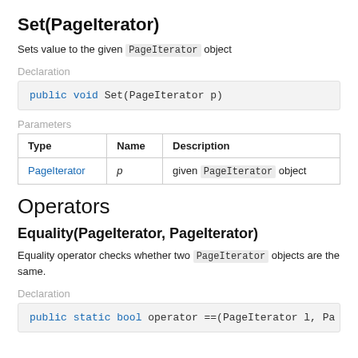Set(PageIterator)
Sets value to the given PageIterator object
Declaration
Parameters
| Type | Name | Description |
| --- | --- | --- |
| PageIterator | p | given PageIterator object |
Operators
Equality(PageIterator, PageIterator)
Equality operator checks whether two PageIterator objects are the same.
Declaration